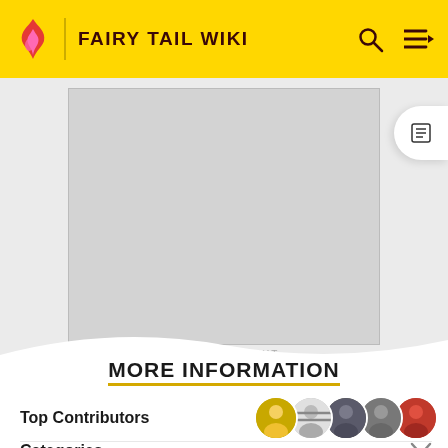FAIRY TAIL WIKI
[Figure (screenshot): Gray advertisement placeholder area]
ADVERTISEMENT
MORE INFORMATION
Top Contributors
Categories